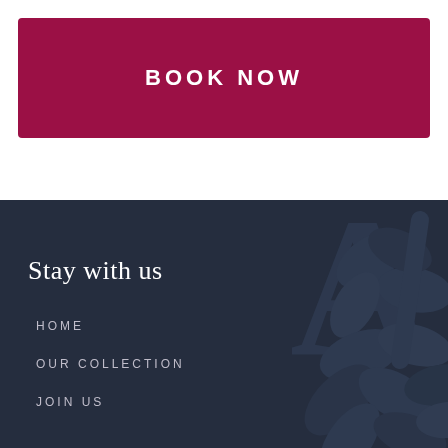BOOK NOW
Stay with us
HOME
OUR COLLECTION
JOIN US